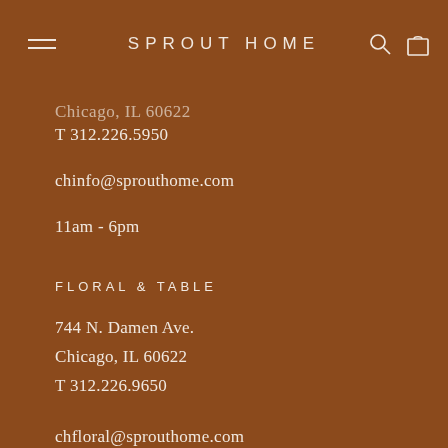SPROUT HOME
Chicago, IL 60622
T 312.226.5950
chinfo@sprouthome.com
11am - 6pm
FLORAL & TABLE
744 N. Damen Ave.
Chicago, IL 60622
T 312.226.9650
chfloral@sprouthome.com
11am - 6pm